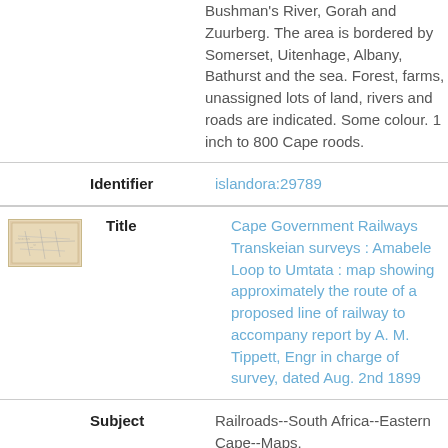Bushman's River, Gorah and Zuurberg. The area is bordered by Somerset, Uitenhage, Albany, Bathurst and the sea. Forest, farms, unassigned lots of land, rivers and roads are indicated. Some colour. 1 inch to 800 Cape roods.
Identifier: islandora:29789
[Figure (photo): Small thumbnail image of a historical map, beige/tan colored with faint markings.]
Title: Cape Government Railways Transkeian surveys : Amabele Loop to Umtata : map showing approximately the route of a proposed line of railway to accompany report by A. M. Tippett, Engr in charge of survey, dated Aug. 2nd 1899
Subject: Railroads--South Africa--Eastern Cape--Maps,
Description: Map showing proposed line of